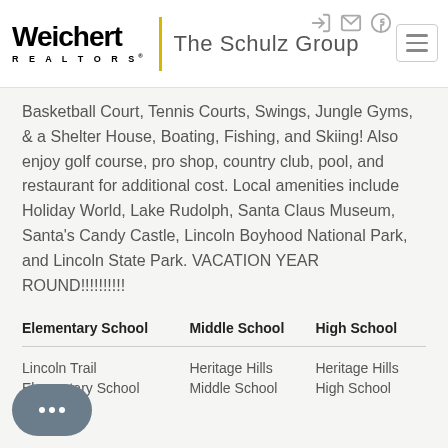[Figure (logo): Weichert Realtors - The Schulz Group logo with navigation icons and hamburger menu]
Basketball Court, Tennis Courts, Swings, Jungle Gyms, & a Shelter House, Boating, Fishing, and Skiing! Also enjoy golf course, pro shop, country club, pool, and restaurant for additional cost. Local amenities include Holiday World, Lake Rudolph, Santa Claus Museum, Santa's Candy Castle, Lincoln Boyhood National Park, and Lincoln State Park. VACATION YEAR ROUND!!!!!!!!!!
| Elementary School | Middle School | High School |
| --- | --- | --- |
| Lincoln Trail Elementary School | Heritage Hills Middle School | Heritage Hills High School |